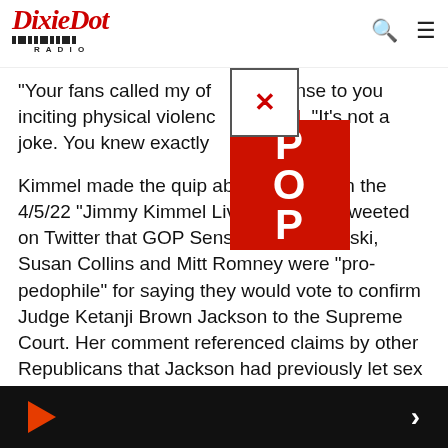Dixie Dot Radio
[Figure (other): Red advertisement/popup overlay with white text 'POP' and a close button (X in a box)]
“Your fans called my of… onse to you inciting physical violenc… reeted. “It’s not a joke. You knew exactly…
Kimmel made the quip about Greene on the 4/5/22 “Jimmy Kimmel Live!” after she tweeted on Twitter that GOP Sens. Lisa Murkowski, Susan Collins and Mitt Romney were “pro-pedophile” for saying they would vote to confirm Judge Ketanji Brown Jackson to the Supreme Court. Her comment referenced claims by other Republicans that Jackson had previously let sex offenders off the hook with lenient sentences.
In his monologue, Jimmy Kimmel referred to the GOP rep as a “Klan mom” and said she was “especially upset” by her fellow Republicans’ decision to confirm Jackson.
Media player bar with play button and next button